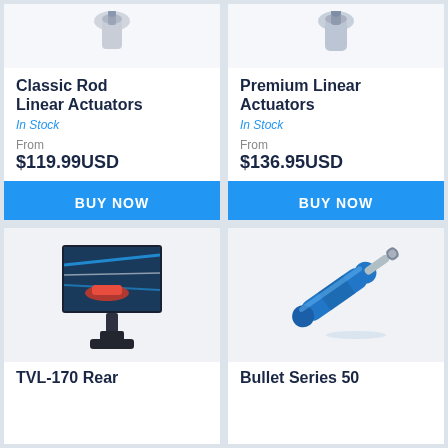[Figure (photo): Classic Rod Linear Actuator product image, top portion of actuator visible]
Classic Rod Linear Actuators
In Stock
From
$119.99USD
BUY NOW
[Figure (photo): Premium Linear Actuator product image, top portion of actuator visible]
Premium Linear Actuators
In Stock
From
$136.95USD
BUY NOW
[Figure (photo): TVL-170 Rear monitor mount with a gaming monitor showing a racing car]
TVL-170 Rear
[Figure (photo): Bullet Series 50 blue linear actuator]
Bullet Series 50